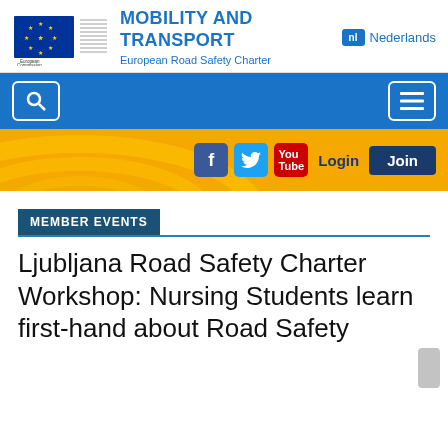[Figure (logo): European Commission logo with flag and building graphic, alongside 'MOBILITY AND TRANSPORT' and 'European Road Safety Charter' heading, and 'nl Nederlands' language button]
[Figure (screenshot): Blue navigation bar with search icon button on left and hamburger menu button on right]
[Figure (screenshot): Yellow social bar with Facebook, Twitter, YouTube icons, Login text and Join button, with road arc graphics on left]
MEMBER EVENTS
Ljubljana Road Safety Charter Workshop: Nursing Students learn first-hand about Road Safety